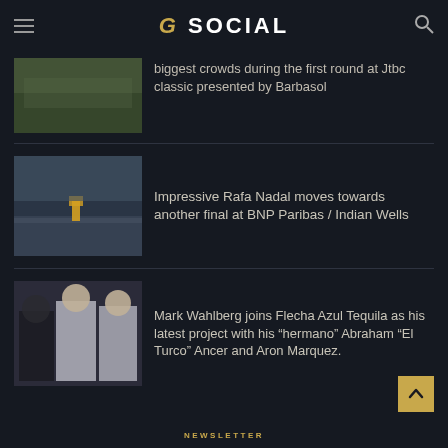G SOCIAL
[Figure (photo): Crowd at golf tournament, partially cut off at top]
biggest crowds during the first round at Jtbc classic presented by Barbasol
[Figure (photo): Rafa Nadal on tennis court at Indian Wells with crowd in background]
Impressive Rafa Nadal moves towards another final at BNP Paribas / Indian Wells
[Figure (photo): Mark Wahlberg with Abraham El Turco Ancer and Aron Marquez group photo]
Mark Wahlberg joins Flecha Azul Tequila as his latest project with his “hermano” Abraham “El Turco” Ancer and Aron Marquez.
NEWSLETTER